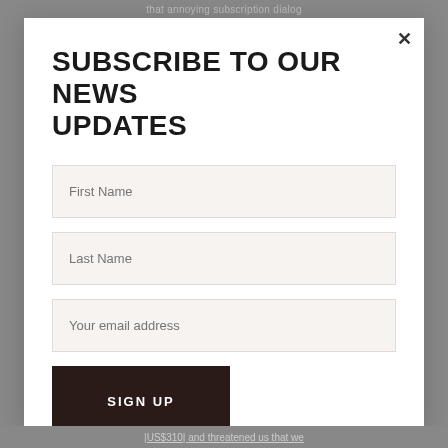that annoying subscription dialog
SUBSCRIBE TO OUR NEWS UPDATES
First Name
Last Name
Your email address
SIGN UP
|US$310| and threatened us that we